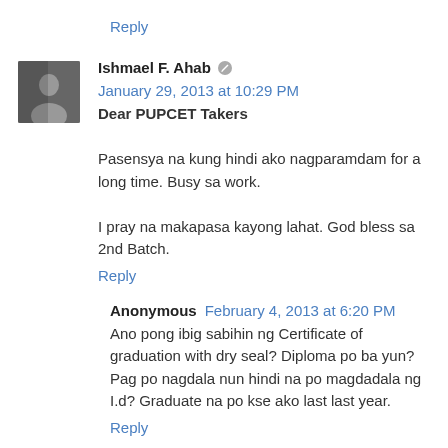Reply
Ishmael F. Ahab  January 29, 2013 at 10:29 PM
Dear PUPCET Takers

Pasensya na kung hindi ako nagparamdam for a long time. Busy sa work.

I pray na makapasa kayong lahat. God bless sa 2nd Batch.
Reply
Anonymous  February 4, 2013 at 6:20 PM
Ano pong ibig sabihin ng Certificate of graduation with dry seal? Diploma po ba yun? Pag po nagdala nun hindi na po magdadala ng I.d? Graduate na po kse ako last last year.
Reply